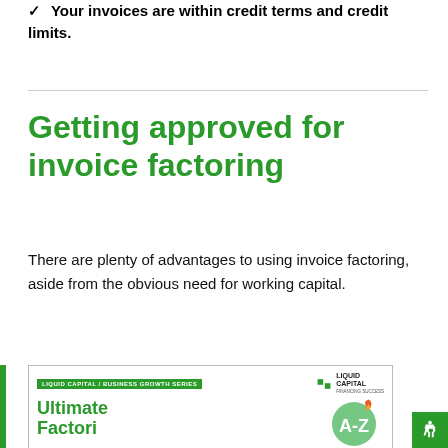✓ Your invoices are within credit terms and credit limits.
Getting approved for invoice factoring
There are plenty of advantages to using invoice factoring, aside from the obvious need for working capital.
[Figure (illustration): Book cover thumbnail showing 'Ultimate Factoring' guide by Liquid Capital, Business Growth Series, with an A-Z graphic and a Liquid Capital logo. A green vertical bar is on the left edge.]